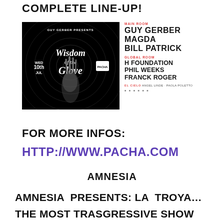COMPLETE LINE-UP!
[Figure (illustration): Event flyer for Guy Gerber presents Wisdom of the Glove at Pacha Ibiza, Wed 10th Jul, showing X-ray hand image on black background with spiral pattern]
MAIN ROOM
GUY GERBER
MAGDA
BILL PATRICK
GLOBAL ROOM
H FOUNDATION
PHIL WEEKS
FRANCK ROGER
EL CIELO ANGEL LINDE · PAOLA POLETTO
FOR MORE INFOS:
HTTP://WWW.PACHA.COM
AMNESIA
AMNESIA PRESENTS: LA TROYA…
THE MOST TRASGRESSIVE SHOW